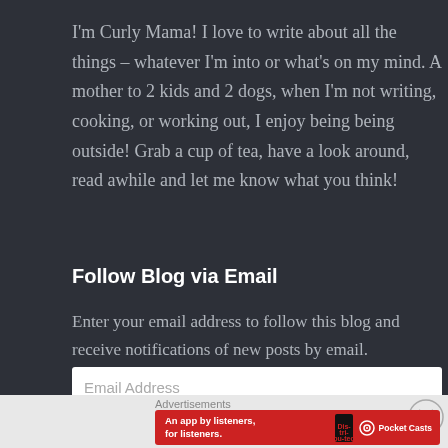I'm Curly Mama! I love to write about all the things – whatever I'm into or what's on my mind. A mother to 2 kids and 2 dogs, when I'm not writing, cooking, or working out, I enjoy being being outside! Grab a cup of tea, have a look around, read awhile and let me know what you think!
Follow Blog via Email
Enter your email address to follow this blog and receive notifications of new posts by email.
Email Address
Advertisements
[Figure (other): Pocket Casts advertisement banner: red background with text 'An app by listeners, for listeners.' and Pocket Casts logo with phone image]